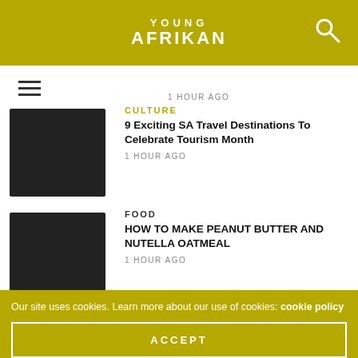YOUNG AFRIKAN
1 HOUR AGO
CULTURE
9 Exciting SA Travel Destinations To Celebrate Tourism Month
1 HOUR AGO
FOOD
HOW TO MAKE PEANUT BUTTER AND NUTELLA OATMEAL
1 HOUR AGO
EDUCATION
Tomi Obaro Fulfills Her Destiny Nadia Neophytou
1 HOUR AGO
Our site uses cookies. Learn more about our use of cookies: cookie policy